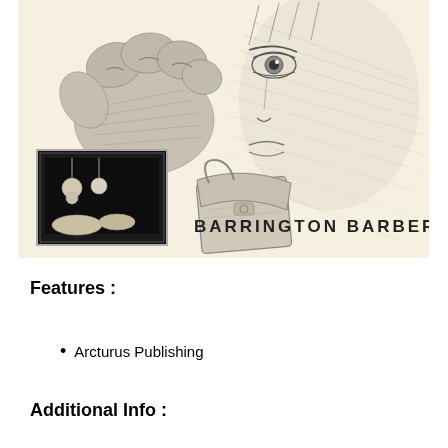[Figure (illustration): Book cover illustration by Barrington Barber showing pencil sketches: a large detailed hand with wrinkled skin, a portrait face with expressive eyes, a small framed scene with hanging objects, a handbag/purse, and the text 'BARRINGTON BARBER' in block letters. The background is a light cream/beige color.]
Features :
Arcturus Publishing
Additional Info :